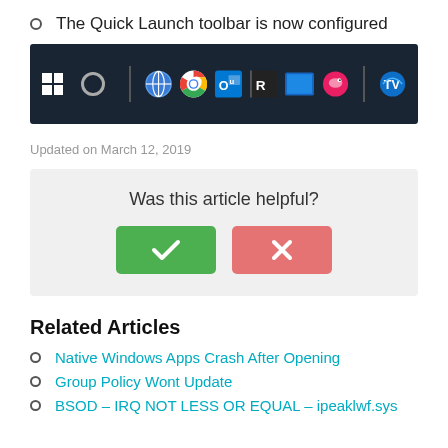The Quick Launch toolbar is now configured
[Figure (screenshot): Windows taskbar showing Quick Launch toolbar with various app icons including Windows logo, Cortana circle, a globe/network icon, Chrome, Outlook, a dark icon, blue rectangle, pink bird icon, and TeamViewer]
Updated on March 12, 2019
[Figure (infographic): Was this article helpful? feedback widget with green checkmark button and red X button]
Related Articles
Native Windows Apps Crash After Opening
Group Policy Wont Update
BSOD – IRQ NOT LESS OR EQUAL – ipeaklwf.sys